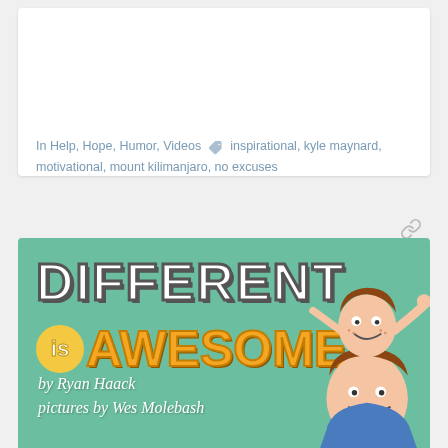In Help, Hope, Humor, Videos  inspirational, kyle maynard, motivational, mount kilimanjaro, no excuses
[Figure (illustration): Book cover for 'Different is Awesome!' by Ryan Haack, pictures by Wes Molebash. Green background with bold white block letters spelling DIFFERENT on top and orange stylized letters spelling is AWESOME! below. Two cartoon characters: a smiling adult with a child on their shoulders, both giving thumbs up.]